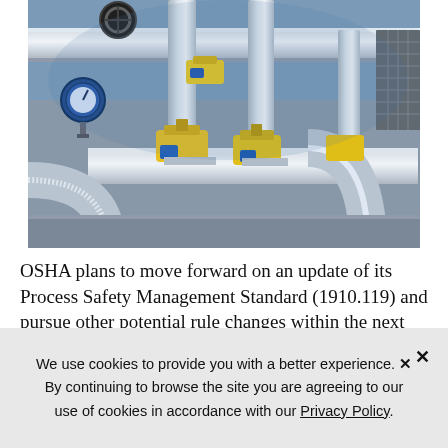[Figure (photo): Industrial piping system with large silver/grey pipes, yellow valve actuators, blue highlights, pressure gauges, and cable trays in an industrial facility.]
OSHA plans to move forward on an update of its Process Safety Management Standard (1910.119) and pursue other potential rule changes within the next
We use cookies to provide you with a better experience. By continuing to browse the site you are agreeing to our use of cookies in accordance with our Privacy Policy.